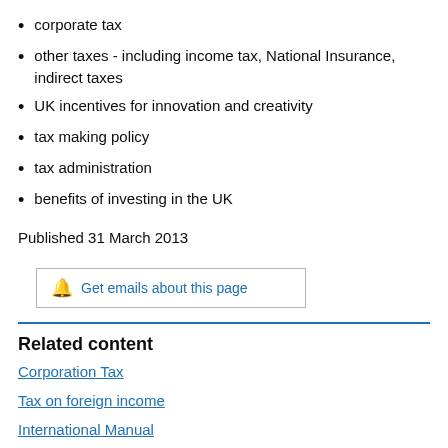corporate tax
other taxes - including income tax, National Insurance, indirect taxes
UK incentives for innovation and creativity
tax making policy
tax administration
benefits of investing in the UK
Published 31 March 2013
Get emails about this page
Related content
Corporation Tax
Tax on foreign income
International Manual